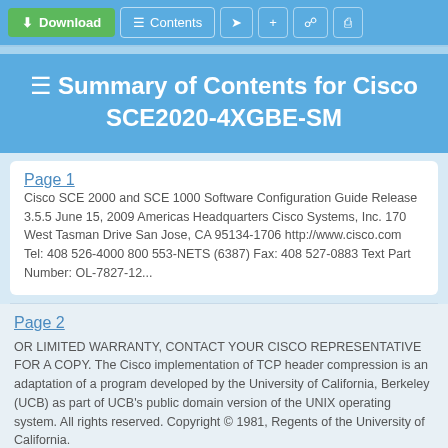Download | Contents
Summary of Contents for Cisco SCE2020-4XGBE-SM
Page 1
Cisco SCE 2000 and SCE 1000 Software Configuration Guide Release 3.5.5 June 15, 2009 Americas Headquarters Cisco Systems, Inc. 170 West Tasman Drive San Jose, CA 95134-1706 http://www.cisco.com Tel: 408 526-4000 800 553-NETS (6387) Fax: 408 527-0883 Text Part Number: OL-7827-12...
Page 2
OR LIMITED WARRANTY, CONTACT YOUR CISCO REPRESENTATIVE FOR A COPY. The Cisco implementation of TCP header compression is an adaptation of a program developed by the University of California, Berkeley (UCB) as part of UCB's public domain version of the UNIX operating system. All rights reserved. Copyright © 1981, Regents of the University of California.
Page 3: Table Of Contents